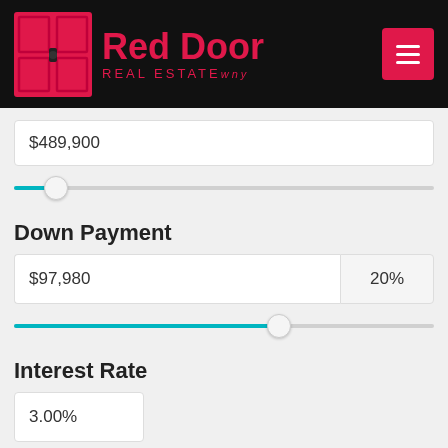[Figure (logo): Red Door Real Estate WNY logo with pink door icon on black header bar, with hamburger menu button]
$489,900
[Figure (infographic): Horizontal slider with teal fill on left side, thumb near far left position]
Down Payment
$97,980   20%
[Figure (infographic): Horizontal slider with teal fill covering left ~63%, thumb at ~63% position]
Interest Rate
3.00%
[Figure (infographic): Horizontal slider with teal fill on left side, thumb near ~40% position, partially visible at bottom]